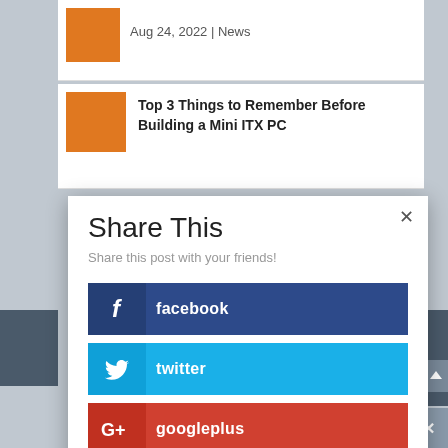Aug 24, 2022 | News
Top 3 Things to Remember Before Building a Mini ITX PC
Share This
Share this post with your friends!
facebook
twitter
googleplus
reddit
like  2